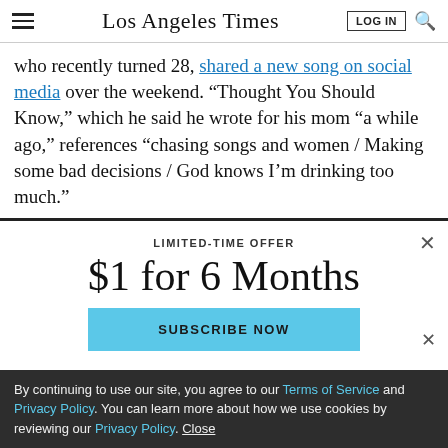Los Angeles Times
who recently turned 28, shared a new song on social media over the weekend. “Thought You Should Know,” which he said he wrote for his mom “a while ago,” references “chasing songs and women / Making some bad decisions / God knows I’m drinking too much.”
LIMITED-TIME OFFER
$1 for 6 Months
SUBSCRIBE NOW
By continuing to use our site, you agree to our Terms of Service and Privacy Policy. You can learn more about how we use cookies by reviewing our Privacy Policy. Close